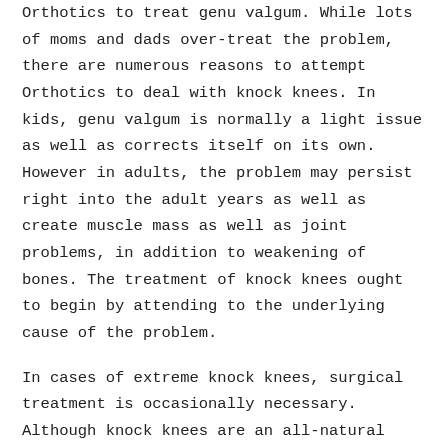Orthotics to treat genu valgum. While lots of moms and dads over-treat the problem, there are numerous reasons to attempt Orthotics to deal with knock knees. In kids, genu valgum is normally a light issue as well as corrects itself on its own. However in adults, the problem may persist right into the adult years as well as create muscle mass as well as joint problems, in addition to weakening of bones. The treatment of knock knees ought to begin by attending to the underlying cause of the problem.
In cases of extreme knock knees, surgical treatment is occasionally necessary. Although knock knees are an all-natural part of advancement, relentless and serious instances commonly call for treatment. Orthotics for children aid to fix foot and knee placement, decrease interior knee rotation, and straighten the